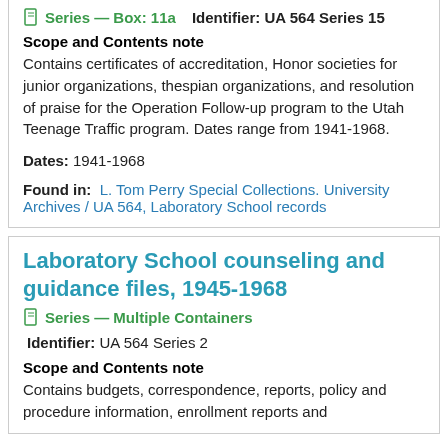Series — Box: 11a    Identifier: UA 564 Series 15
Scope and Contents note
Contains certificates of accreditation, Honor societies for junior organizations, thespian organizations, and resolution of praise for the Operation Follow-up program to the Utah Teenage Traffic program. Dates range from 1941-1968.
Dates: 1941-1968
Found in: L. Tom Perry Special Collections. University Archives / UA 564, Laboratory School records
Laboratory School counseling and guidance files, 1945-1968
Series — Multiple Containers
Identifier: UA 564 Series 2
Scope and Contents note
Contains budgets, correspondence, reports, policy and procedure information, enrollment reports and